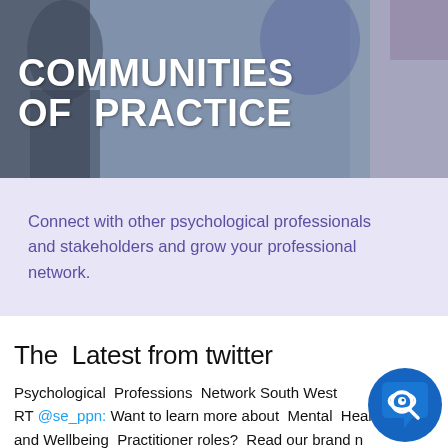[Figure (photo): Hero banner photo with people in the background, overlaid with large white bold text reading COMMUNITIES OF PRACTICE]
COMMUNITIES OF PRACTICE
Connect with other psychological professionals and stakeholders and grow your professional network.
The  Latest from twitter
Psychological Professions Network South West RT @se_ppn: Want to learn more about Mental Health and Wellbeing Practitioner roles? Read our brand n... blog written by Karen Veri, MHWP Pr...